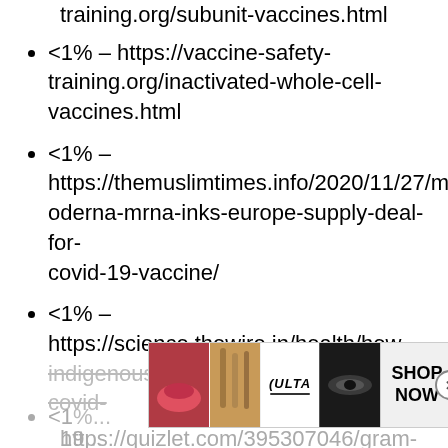training.org/subunit-vaccines.html
<1% – https://vaccine-safety-training.org/inactivated-whole-cell-vaccines.html
<1% – https://themuslimtimes.info/2020/11/27/moderna-mrna-inks-europe-supply-deal-for-covid-19-vaccine/
<1% – https://science.thewire.in/health/how-indigenous-is-bharat-biotechs-new-covid-19...
<1% – https://quizlet.com/395307046/gram-...